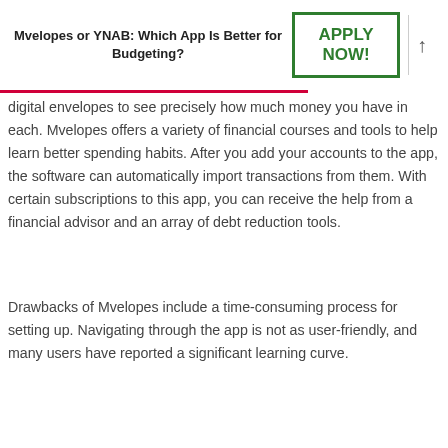Mvelopes or YNAB: Which App Is Better for Budgeting?
digital envelopes to see precisely how much money you have in each. Mvelopes offers a variety of financial courses and tools to help learn better spending habits. After you add your accounts to the app, the software can automatically import transactions from them. With certain subscriptions to this app, you can receive the help from a financial advisor and an array of debt reduction tools.
Drawbacks of Mvelopes include a time-consuming process for setting up. Navigating through the app is not as user-friendly, and many users have reported a significant learning curve.